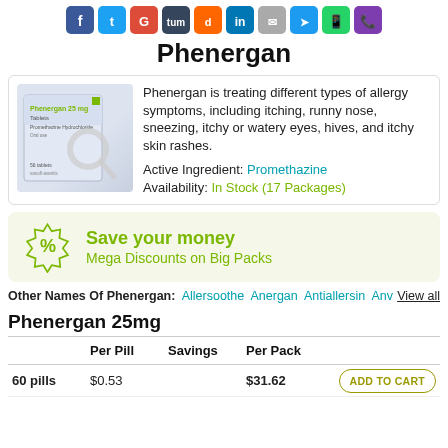[Figure (illustration): Row of social media sharing icons (Facebook, Twitter, Google+, Tumblr, Digg, LinkedIn, and others) at the top of the page]
Phenergan
[Figure (photo): Product image of Phenergan 25mg Tablets box (Promethazine Hydrochloride, 56 tablets, sanofi-aventis) with a magnifying glass overlay]
Phenergan is treating different types of allergy symptoms, including itching, runny nose, sneezing, itchy or watery eyes, hives, and itchy skin rashes.
Active Ingredient: Promethazine
Availability: In Stock (17 Packages)
Save your money
Mega Discounts on Big Packs
Other Names Of Phenergan: Allersoothe Anergan Antiallersin Anv… View all
Phenergan 25mg
|  | Per Pill | Savings | Per Pack |  |
| --- | --- | --- | --- | --- |
| 60 pills | $0.53 |  | $31.62 | ADD TO CART |